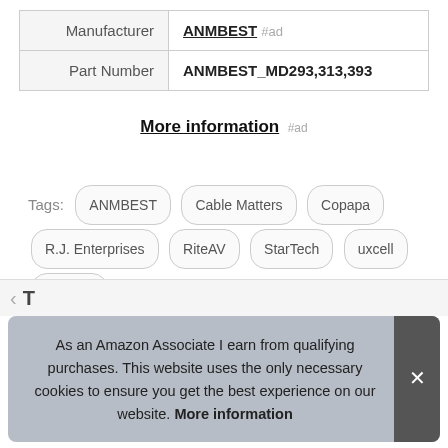|  |  |
| --- | --- |
| Manufacturer | ANMBEST #ad |
| Part Number | ANMBEST_MD293,313,393 |
More information #ad
Tags: ANMBEST  Cable Matters  Copapa  R.J. Enterprises  RiteAV  StarTech  uxcell  ZRM&E
As an Amazon Associate I earn from qualifying purchases. This website uses the only necessary cookies to ensure you get the best experience on our website. More information